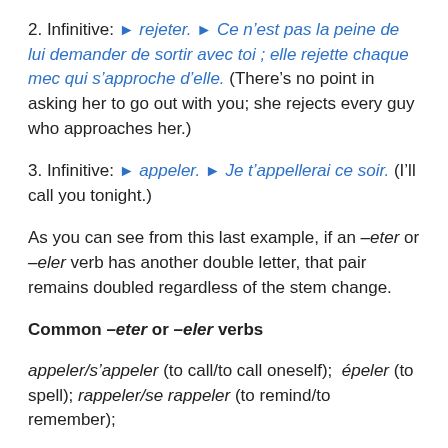2. Infinitive: ▶ rejeter. ▶ Ce n'est pas la peine de lui demander de sortir avec toi ; elle rejette chaque mec qui s'approche d'elle. (There's no point in asking her to go out with you; she rejects every guy who approaches her.)
3. Infinitive: ▶ appeler. ▶ Je t'appellerai ce soir. (I'll call you tonight.)
As you can see from this last example, if an –eter or –eler verb has another double letter, that pair remains doubled regardless of the stem change.
Common –eter or –eler verbs
appeler/s'appeler (to call/to call oneself); épeler (to spell); rappeler/se rappeler (to remind/to remember);